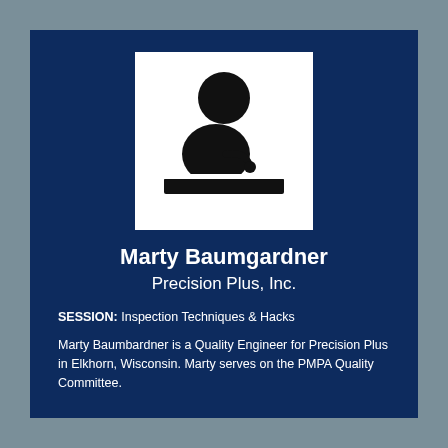[Figure (illustration): Speaker icon: silhouette of a person at a podium with a microphone, black on white background]
Marty Baumgardner
Precision Plus, Inc.
SESSION: Inspection Techniques & Hacks
Marty Baumbardner is a Quality Engineer for Precision Plus in Elkhorn, Wisconsin. Marty serves on the PMPA Quality Committee.